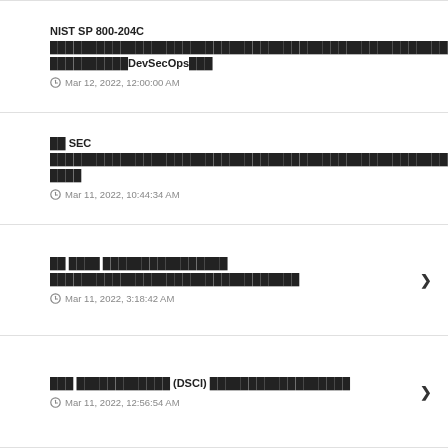NIST SP 800-204C ██████████████████████████████████ DevSecOps███
Mar 12, 2022, 12:00:00 AM
██ SEC ████████████████████████████████████████████ ████
Mar 11, 2022, 10:44:34 AM
██ ████ ████████████████ ████████████████████████████
Mar 11, 2022, 3:18:42 AM
███ ████████████ (DSCI) ██████████████████
Mar 11, 2022, 12:56:54 AM